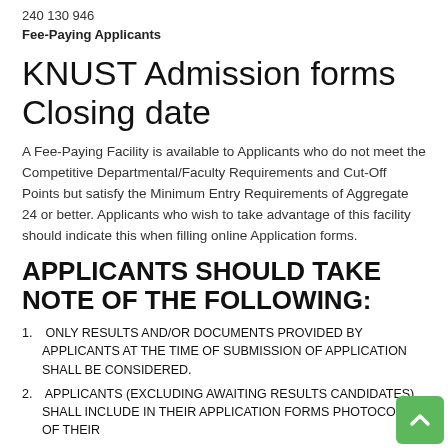240 130 946
Fee-Paying Applicants
KNUST Admission forms Closing date
A Fee-Paying Facility is available to Applicants who do not meet the Competitive Departmental/Faculty Requirements and Cut-Off Points but satisfy the Minimum Entry Requirements of Aggregate 24 or better. Applicants who wish to take advantage of this facility should indicate this when filling online Application forms.
APPLICANTS SHOULD TAKE NOTE OF THE FOLLOWING:
ONLY RESULTS AND/OR DOCUMENTS PROVIDED BY APPLICANTS AT THE TIME OF SUBMISSION OF APPLICATION SHALL BE CONSIDERED.
APPLICANTS (EXCLUDING AWAITING RESULTS CANDIDATES) SHALL INCLUDE IN THEIR APPLICATION FORMS PHOTOCOPIES OF THEIR